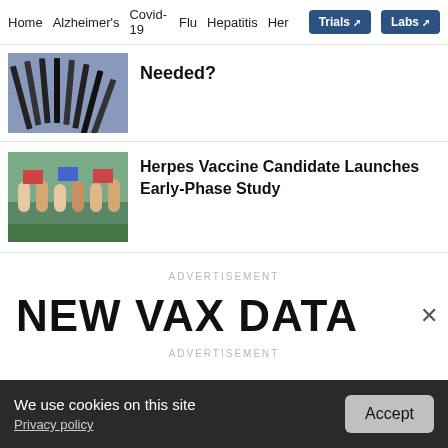Home | Alzheimer's | Covid-19 | Flu | Hepatitis | Her... | Trials | Labs
Needed?
[Figure (photo): Thumbnail image of syringes/needles]
Herpes Vaccine Candidate Launches Early-Phase Study
[Figure (photo): Thumbnail image of people at an outdoor event]
ADVERTISEMENT
NEW VAX DATA
ADVERTISEMENT
We use cookies on this site
Privacy policy